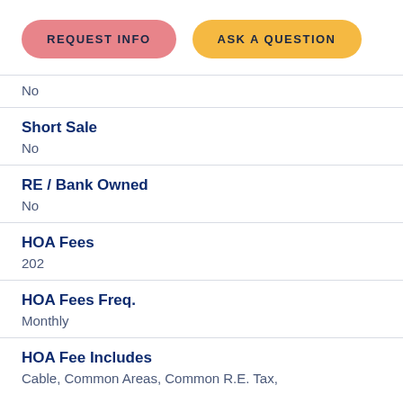[Figure (other): Two rounded pill-shaped buttons: 'REQUEST INFO' (pink/salmon) and 'ASK A QUESTION' (orange/yellow)]
No
Short Sale
No
RE / Bank Owned
No
HOA Fees
202
HOA Fees Freq.
Monthly
HOA Fee Includes
Cable, Common Areas, Common R.E. Tax,